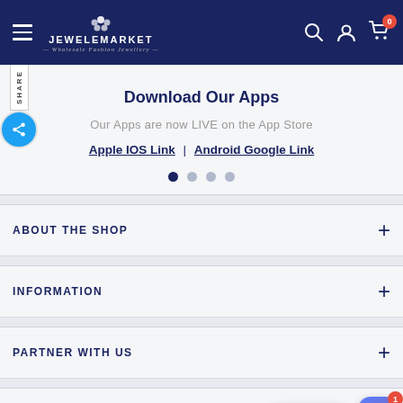[Figure (screenshot): JeweleMarket website header with dark navy background, hamburger menu, logo with flower icon and text 'JEWELEMARKET - Wholesale Fashion Jewellery -', search icon, user icon, and cart icon with badge '0']
Download Our Apps
Our Apps are now LIVE on the App Store
Apple IOS Link | Android Google Link
ABOUT THE SHOP
INFORMATION
PARTNER WITH US
CONTACT US